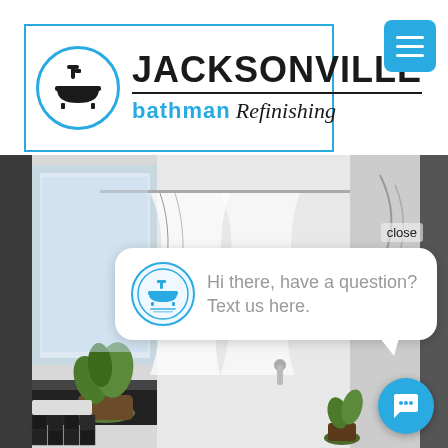[Figure (logo): Jacksonville Bathman Refinishing logo with bathtub icon in circle, blue border rectangle]
[Figure (screenshot): Mobile website screenshot showing a modern black and white bathroom with shower, plants, and a chat popup bubble saying 'Hi there, have a question? Text us here.' with a close button and chat icon in bottom right]